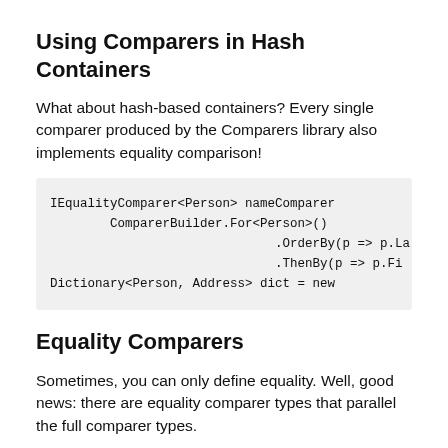Using Comparers in Hash Containers
What about hash-based containers? Every single comparer produced by the Comparers library also implements equality comparison!
[Figure (screenshot): Code block showing IEqualityComparer<Person> nameComparer, ComparerBuilder.For<Person>(), .OrderBy(p => p.La, .ThenBy(p => p.Fi, Dictionary<Person, Address> dict = new]
Equality Comparers
Sometimes, you can only define equality. Well, good news: there are equality comparer types that parallel the full comparer types.